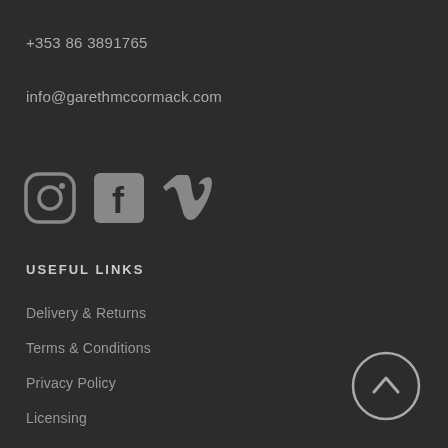+353 86 3891765
info@garethmccormack.com
[Figure (illustration): Social media icons: Instagram, Facebook, Vimeo]
USEFUL LINKS
Delivery & Returns
Terms & Conditions
Privacy Policy
Licensing
[Figure (illustration): Back to top button: circle with upward arrow]